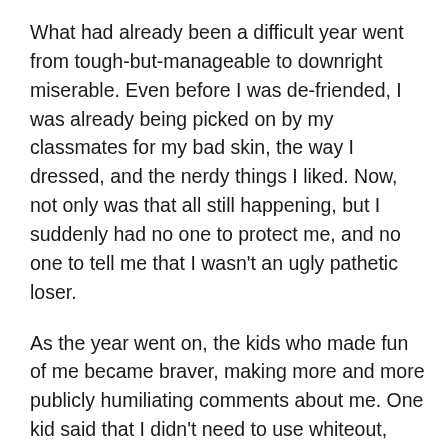What had already been a difficult year went from tough-but-manageable to downright miserable. Even before I was de-friended, I was already being picked on by my classmates for my bad skin, the way I dressed, and the nerdy things I liked. Now, not only was that all still happening, but I suddenly had no one to protect me, and no one to tell me that I wasn't an ugly pathetic loser.
As the year went on, the kids who made fun of me became braver, making more and more publicly humiliating comments about me. One kid said that I didn't need to use whiteout, because I could just use the pus from my pimples – the teacher laughed at that along with everyone else. Another kid wondered aloud why my clothes were so terrible, since my father was a lawyer and could almost certainly afford something better than ill-